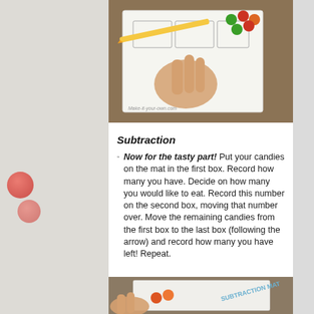[Figure (photo): Child's hand holding a pencil writing on a math worksheet with colorful candy pieces (green and orange/red M&Ms) on the paper. Watermark reads Make-it-your-own.com]
Subtraction
Now for the tasty part! Put your candies on the mat in the first box. Record how many you have.  Decide on how many you would like to eat.  Record this number on the second box, moving that number over.  Move the remaining candies from the first box to the last box (following the arrow) and record how many you have left!  Repeat.
[Figure (photo): Child's hands near a subtraction math mat with orange candy pieces on a wooden surface. The mat shows text 'SUBTRACTION MAT'.]